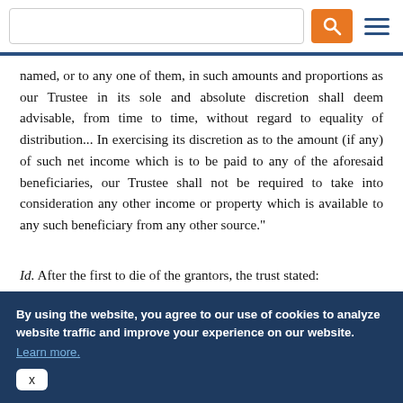named, or to any one of them, in such amounts and proportions as our Trustee in its sole and absolute discretion shall deem advisable, from time to time, without regard to equality of distribution... In exercising its discretion as to the amount (if any) of such net income which is to be paid to any of the aforesaid beneficiaries, our Trustee shall not be required to take into consideration any other income or property which is available to any such beneficiary from any other source."
Id. After the first to die of the grantors, the trust stated:
By using the website, you agree to our use of cookies to analyze website traffic and improve your experience on our website. Learn more.